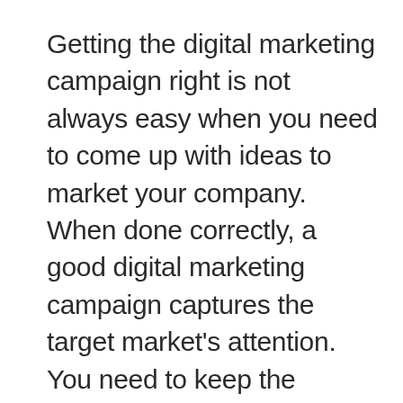Getting the digital marketing campaign right is not always easy when you need to come up with ideas to market your company. When done correctly, a good digital marketing campaign captures the target market's attention. You need to keep the readers fascinated by the story, and they will continue to read if done right.